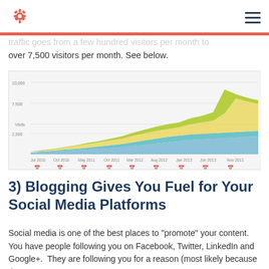HubSpot logo and navigation menu
traffic goes from a few hundred visitors per month to over 7,500 visitors per month. See below.
[Figure (area-chart): Stacked area chart showing website traffic growth from Jul 2010 to Nov 2013, rising from near zero to over 7,500 visitors per month, with multiple colored layers (blue, teal, yellow-green, olive/lime green).]
3) Blogging Gives You Fuel for Your Social Media Platforms
Social media is one of the best places to "promote" your content.  You have people following you on Facebook, Twitter, LinkedIn and Google+.  They are following you for a reason (most likely because they